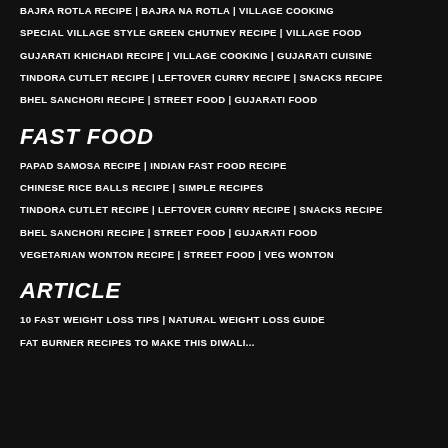BAJRA ROTLA RECIPE | BAJRA NA ROTLA | VILLAGE COOKING
SPECIAL VILLAGE STYLE GREEN CHUTNEY RECIPE | VILLAGE FOOD
GUJARATI KHICHADI RECIPE | VILLAGE COOKING | GUJARATI CUISINE
TINDORA CUTLET RECIPE | LEFTOVER CURRY RECIPE | SNACKS RECIPE
BHEL SANCHORI RECIPE | STREET FOOD | GUJARATI FOOD
FAST FOOD
PAPAD SAMOSA RECIPE | INDIAN FAST FOOD RECIPE
CHINESE RICE BALLS RECIPE | SIMPLE RECIPES
TINDORA CUTLET RECIPE | LEFTOVER CURRY RECIPE | SNACKS RECIPE
BHEL SANCHORI RECIPE | STREET FOOD | GUJARATI FOOD
VEGETARIAN WONTON RECIPE | STREET FOOD | VEG WONTON
ARTICLE
10 FAST WEIGHT LOSS TIPS | NATURAL WEIGHT LOSS GUIDE
FAT BURNER RECIPES TO MAKE THIS DIWALI...